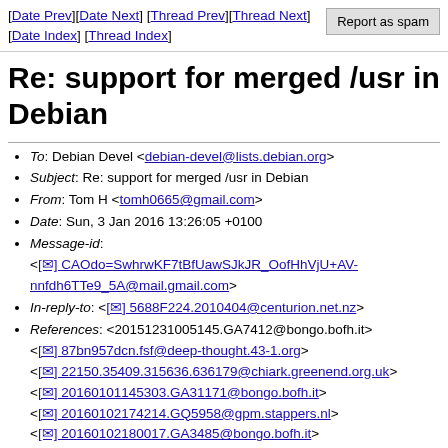[Date Prev][Date Next] [Thread Prev][Thread Next] [Date Index] [Thread Index]
Re: support for merged /usr in Debian
To: Debian Devel <debian-devel@lists.debian.org>
Subject: Re: support for merged /usr in Debian
From: Tom H <tomh0665@gmail.com>
Date: Sun, 3 Jan 2016 13:26:05 +0100
Message-id: <[✉] CAOdo=SwhrwKF7tBfUawSJkJR_OofHhVjU+AV-nnfdh6TTe9_5A@mail.gmail.com>
In-reply-to: <[✉] 5688F224.2010404@centurion.net.nz>
References: <20151231005145.GA7412@bongo.bofh.it> <[✉] 87bn957dcn.fsf@deep-thought.43-1.org> <[✉] 22150.35409.315636.636179@chiark.greenend.org.uk> <[✉] 20160101145303.GA31171@bongo.bofh.it> <[✉] 20160102174214.GQ5958@gpm.stappers.nl> <[✉] 20160102180017.GA3485@bongo.bofh.it> <[✉] 56888CA5.9090904@centurion.net.nz>